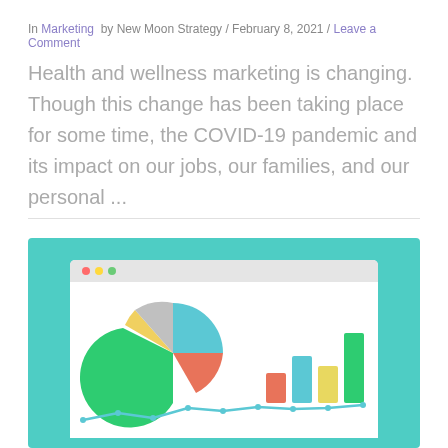In Marketing  by New Moon Strategy / February 8, 2021 / Leave a Comment
Health and wellness marketing is changing. Though this change has been taking place for some time, the COVID-19 pandemic and its impact on our jobs, our families, and our personal ...
[Figure (illustration): Browser window mockup showing a dashboard with a colorful pie chart (green, blue, red/coral, yellow, grey slices), a bar chart (coral, blue, yellow, green bars), and a line chart at the bottom, all on a teal/turquoise background.]